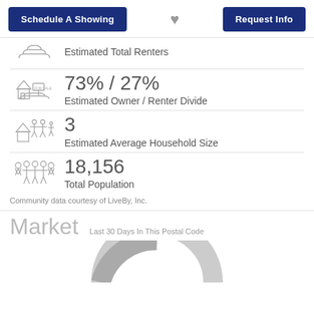Schedule A Showing  [heart]  Request Info
[Figure (illustration): Hand icon for renters, partially visible at top]
Estimated Total Renters
[Figure (illustration): House for sale with hand icon representing owner/renter divide]
73% / 27%
Estimated Owner / Renter Divide
[Figure (illustration): House with family figures representing household size]
3
Estimated Average Household Size
[Figure (illustration): Group of people figures representing total population]
18,156
Total Population
Community data courtesy of LiveBy, Inc.
Market    Last 30 Days In This Postal Code
[Figure (other): Partial donut/pie chart visible at bottom of page]